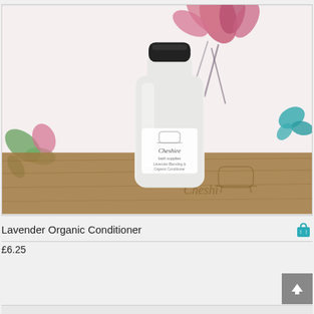[Figure (photo): A white plastic bottle with a black flip-top cap, labeled 'Cheshire bath supplies, Lavender Blending & Organic Conditioner', placed on a wooden surface with a floral wallpaper background featuring pink and teal flowers and butterflies. Faint Cheshire branding is engraved on the wooden surface.]
Lavender Organic Conditioner
£6.25